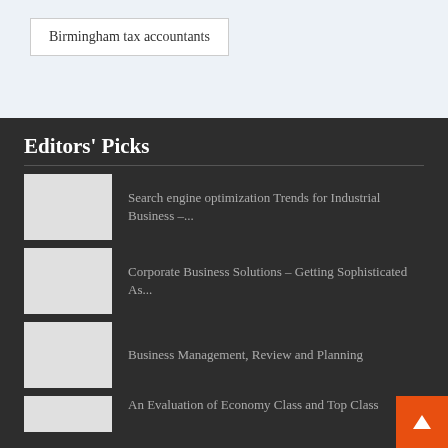Birmingham tax accountants
Editors' Picks
Search engine optimization Trends for Industrial Business –...
Corporate Business Solutions – Getting Sophisticated As...
Business Management, Review and Planning
An Evaluation of Economy Class and Top Class